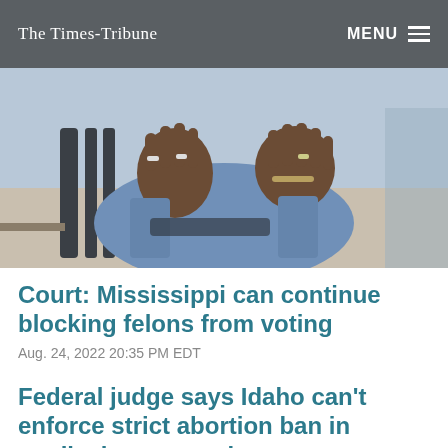The Times-Tribune  MENU
[Figure (photo): Close-up of a person's hands gesturing, wearing a light blue blazer, rings and bracelets visible, seated near a dark chair outdoors.]
Court: Mississippi can continue blocking felons from voting
Aug. 24, 2022 20:35 PM EDT
Federal judge says Idaho can’t enforce strict abortion ban in medical emergencies
Aug. 24, 2022 20:19 PM EDT